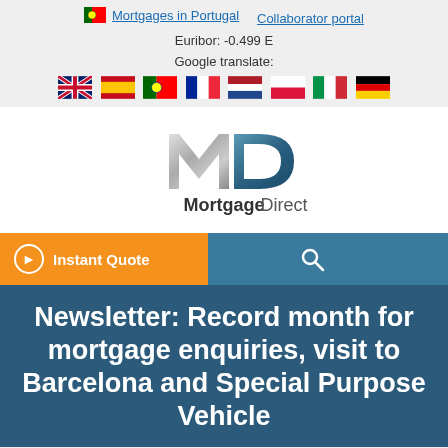Mortgages in Portugal   Collaborator portal
Euribor: -0.499 E
Google translate:
[Figure (other): Row of country flag icons: UK, Spain, Portugal, France, Netherlands, Poland, Italy, Germany]
[Figure (logo): Mortgage Direct logo — stylized silver MD monogram above the text 'Mortgage Direct']
[Figure (other): Navigation bar with orange 'Instant Quote' button, search icon, and hamburger menu icon on teal background]
Newsletter: Record month for mortgage enquiries, visit to Barcelona and Special Purpose Vehicle